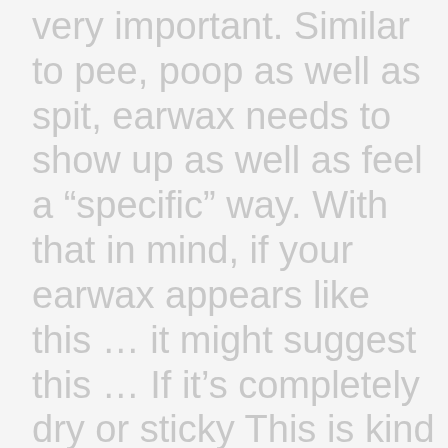very important. Similar to pee, poop as well as spit, earwax needs to show up as well as feel a “specific” way. With that in mind, if your earwax appears like this … it might suggest this … If it’s completely dry or sticky This is kind of trendy, and it’s less concerning health than it is genes (though the two aren’t always equally exclusive.) In a write-up released in the journal Nature Genetics, scientists discovered that the uniformity